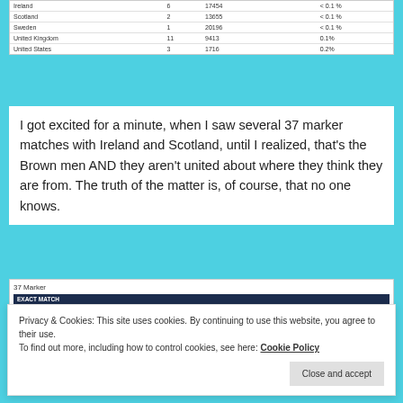| Country |  | Country Total | Percentage |
| --- | --- | --- | --- |
| Ireland | 6 | 17454 | < 0.1 % |
| Scotland | 2 | 13655 | < 0.1 % |
| Sweden | 1 | 20196 | < 0.1 % |
| United Kingdom | 11 | 9413 | 0.1% |
| United States | 3 | 1716 | 0.2% |
I got excited for a minute, when I saw several 37 marker matches with Ireland and Scotland, until I realized, that's the Brown men AND they aren't united about where they think they are from.  The truth of the matter is, of course, that no one knows.
[Figure (screenshot): 37 Marker DNA match table showing EXACT MATCH section with United Kingdom (1 match, 7754, <0.1%) and GENETIC DISTANCE 1 section showing Ireland (1 match, 18159, <0.1%) and Scotland (1 match, 12837, <0.1%) and GENETIC DISTANCE 2 section header]
Privacy & Cookies: This site uses cookies. By continuing to use this website, you agree to their use.
To find out more, including how to control cookies, see here: Cookie Policy